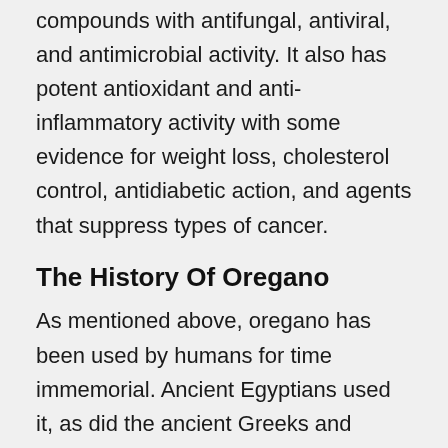compounds with antifungal, antiviral, and antimicrobial activity. It also has potent antioxidant and anti-inflammatory activity with some evidence for weight loss, cholesterol control, antidiabetic action, and agents that suppress types of cancer.
The History Of Oregano
As mentioned above, oregano has been used by humans for time immemorial. Ancient Egyptians used it, as did the ancient Greeks and Romans. The Greeks believed the wonderful herb was created by the Goddess Aphrodite, making the herb a symbol of joy.
The Romans helped perpetuate the use of this healthful, zesty herb as they found it easy to grow